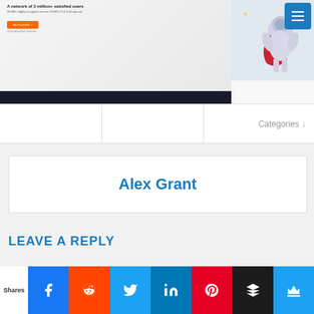[Figure (screenshot): VPN website screenshot showing 'A network of 3 million+ satisfied users' with an orange 'Get PureVPN' button and a cartoon astronaut mascot with red cape. A dark taskbar is visible at the bottom. A blue hamburger menu button is overlaid in top-right.]
|  |  | Categories ↓ |
| --- | --- | --- |
|  |  |  |
Alex Grant
LEAVE A REPLY
[Figure (infographic): Social media share bar with icons for Facebook, Reddit, Twitter, LinkedIn, Pinterest, Buffer/Stack, and Crown icon. Labels: Shares on left side.]